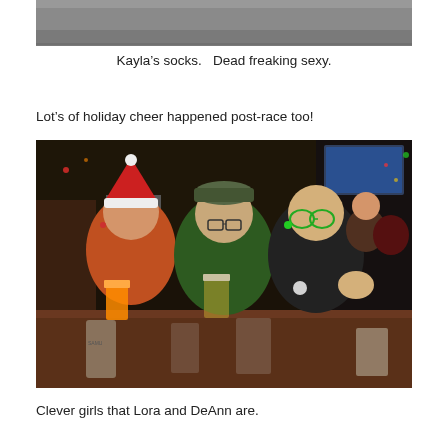[Figure (photo): Top portion of a photo showing what appears to be a wet ground or pavement, partial view of Kayla's socks]
Kayla’s socks.   Dead freaking sexy.
Lot’s of holiday cheer happened post-race too!
[Figure (photo): Three women sitting at a bar table holding drinks, celebrating holiday post-race. The woman on the left wears a Santa hat and holds a colorful cocktail, the woman in the middle wears glasses and a green sweater holding a beer, and the woman on the right wears novelty green glasses and makes a hand gesture. Bar setting with holiday decorations visible in background.]
Clever girls that Lora and DeAnn are.